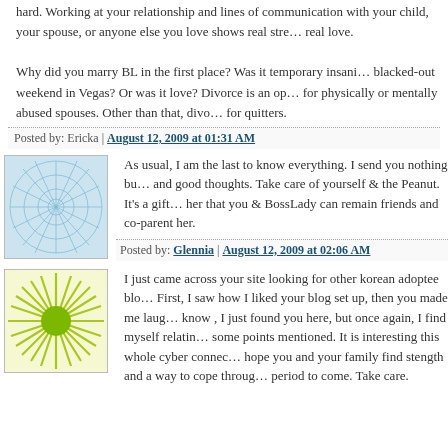hard. Working at your relationship and lines of communication with your child, your spouse, or anyone else you love shows real strength and real love.

Why did you marry BL in the first place? Was it temporary insanity, a blacked-out weekend in Vegas? Or was it love? Divorce is an option for physically or mentally abused spouses. Other than that, divorce is for quitters.
Posted by: Ericka | August 12, 2009 at 01:31 AM
[Figure (illustration): Square avatar with blue-tinted web/mesh pattern illustration]
As usual, I am the last to know everything. I send you nothing but love and good thoughts. Take care of yourself & the Peanut. It's a gift for her that you & BossLady can remain friends and co-parent her.
Posted by: Glennia | August 12, 2009 at 02:06 AM
[Figure (illustration): Square avatar with yellow-green sunburst/radial pattern with green center circle]
I just came across your site looking for other korean adoptee blo... First, I saw how I liked your blog set up, then you made me laugh... know , I just found you here, but once again, I find myself relating some points mentioned. It is interesting this whole cyber connec... hope you and your family find stength and a way to cope through... period to come. Take care.